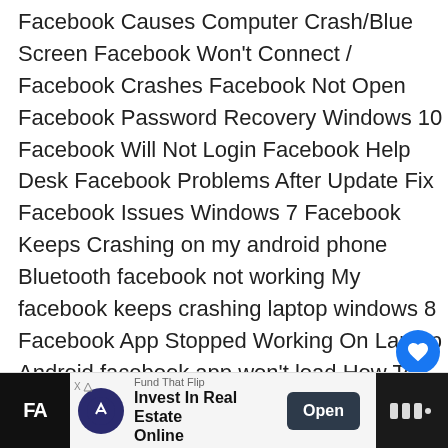Facebook Causes Computer Crash/Blue Screen Facebook Won't Connect / Facebook Crashes Facebook Not Open Facebook Password Recovery Windows 10 Facebook Will Not Login Facebook Help Desk Facebook Problems After Update Fix Facebook Issues Windows 7 Facebook Keeps Crashing on my android phone Bluetooth facebook not working My facebook keeps crashing laptop windows 8 Facebook App Stopped Working On Laptop Android facebook app won't load How To Get A Message Back From Someone Who Deleted Their Profile how do i get all my messages off of facebook go back to the old messenger?
[Figure (screenshot): UI overlay: blue heart/like button, share icon, badge number 1, and a 'What's Next' card showing 'How To Turn On Selling...' with logo]
[Figure (screenshot): Advertisement banner at bottom: Fund That Flip - Invest In Real Estate Online, with Open button]